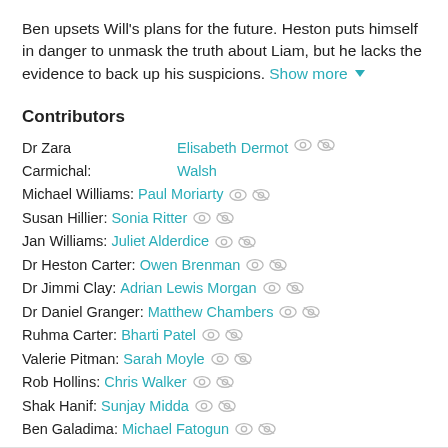Ben upsets Will's plans for the future. Heston puts himself in danger to unmask the truth about Liam, but he lacks the evidence to back up his suspicions. Show more ▼
Contributors
Dr Zara Carmichal: Elisabeth Dermot Walsh
Michael Williams: Paul Moriarty
Susan Hillier: Sonia Ritter
Jan Williams: Juliet Alderdice
Dr Heston Carter: Owen Brenman
Dr Jimmi Clay: Adrian Lewis Morgan
Dr Daniel Granger: Matthew Chambers
Ruhma Carter: Bharti Patel
Valerie Pitman: Sarah Moyle
Rob Hollins: Chris Walker
Shak Hanif: Sunjay Midda
Ben Galadima: Michael Fatogun